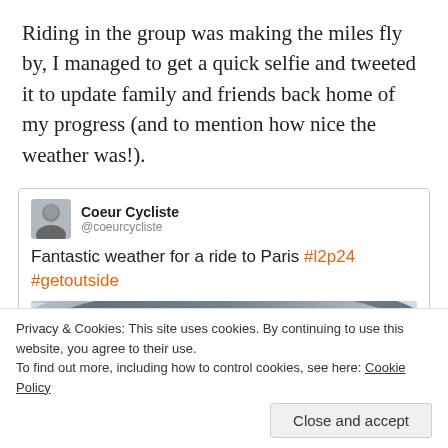Riding in the group was making the miles fly by, I managed to get a quick selfie and tweeted it to update family and friends back home of my progress (and to mention how nice the weather was!).
[Figure (screenshot): Embedded tweet from @coeurcycliste (Coeur Cycliste) saying 'Fantastic weather for a ride to Paris #l2p24 #getoutside' with a photo of a cycling helmet (Rudy brand) against a blue sky.]
Privacy & Cookies: This site uses cookies. By continuing to use this website, you agree to their use.
To find out more, including how to control cookies, see here: Cookie Policy
Close and accept